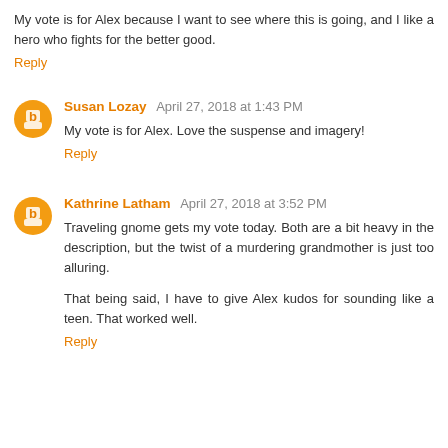My vote is for Alex because I want to see where this is going, and I like a hero who fights for the better good.
Reply
Susan Lozay  April 27, 2018 at 1:43 PM
My vote is for Alex. Love the suspense and imagery!
Reply
Kathrine Latham  April 27, 2018 at 3:52 PM
Traveling gnome gets my vote today. Both are a bit heavy in the description, but the twist of a murdering grandmother is just too alluring.
That being said, I have to give Alex kudos for sounding like a teen. That worked well.
Reply